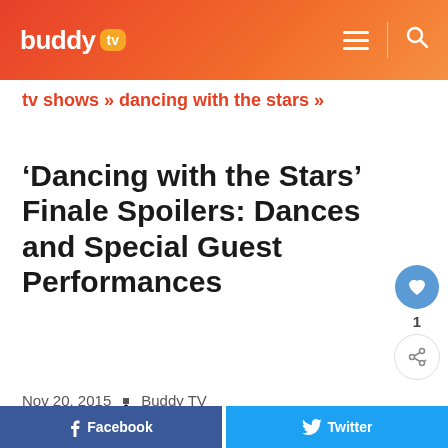buddy tv
tv shows » dancing with the stars »
'Dancing with the Stars' Finale Spoilers: Dances and Special Guest Performances
Nov 20, 2015  •  Buddy TV
[Figure (other): Facebook and Twitter social share buttons at bottom of page]